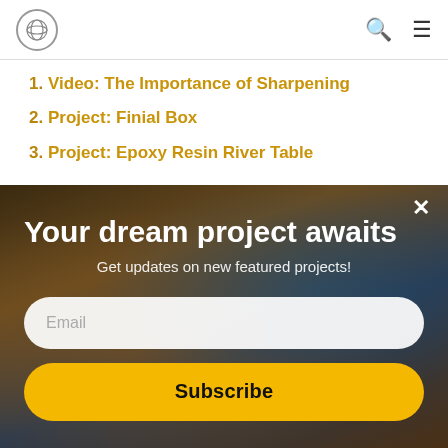[Figure (logo): Circular logo with concentric ring pattern]
1. Video: The Importance of Sharpening
2. Project: Finial Box
3. Project: Epoxy Resin River Table
[Figure (photo): Close-up photo of hands using a woodworking tool (lathe/chisel) with sawdust]
Your dream project awaits
Get updates on new featured projects!
Email
Subscribe